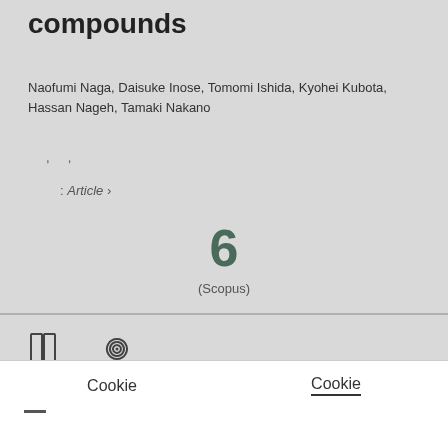compounds
Naofumi Naga, Daisuke Inose, Tomomi Ishida, Kyohei Kubota, Hassan Nageh, Tamaki Nakano
, ,
: Article ›
6
(Scopus)
Cookie   Cookie
—